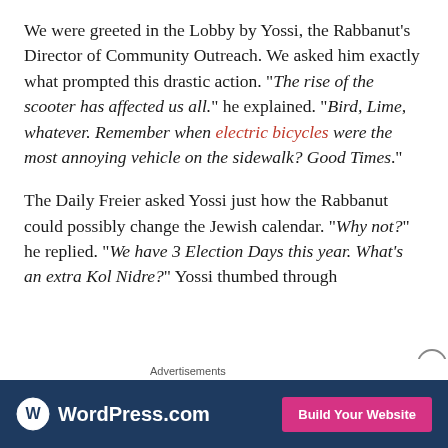We were greeted in the Lobby by Yossi, the Rabbanut's Director of Community Outreach. We asked him exactly what prompted this drastic action. "The rise of the scooter has affected us all." he explained. "Bird, Lime, whatever. Remember when electric bicycles were the most annoying vehicle on the sidewalk? Good Times."
The Daily Freier asked Yossi just how the Rabbanut could possibly change the Jewish calendar. "Why not?" he replied. "We have 3 Election Days this year. What's an extra Kol Nidre?" Yossi thumbed through
Advertisements
[Figure (other): WordPress.com advertisement banner with logo on the left and 'Build Your Website' pink button on the right, dark blue background]